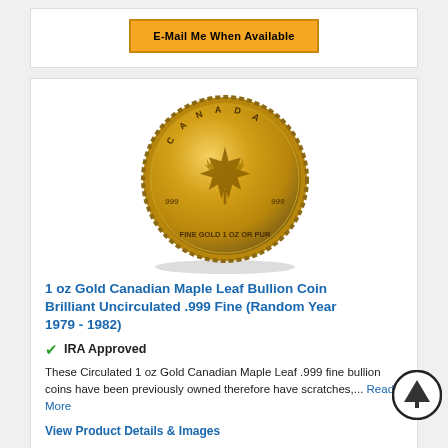[Figure (other): Yellow button labeled 'E-Mail Me When Available']
[Figure (photo): 1 oz Gold Canadian Maple Leaf Bullion Coin, showing the reverse with maple leaf design, inscriptions CANADA, 999 FINE GOLD 1 OZ OR PUR]
1 oz Gold Canadian Maple Leaf Bullion Coin Brilliant Uncirculated .999 Fine (Random Year 1979 - 1982)
IRA Approved
These Circulated 1 oz Gold Canadian Maple Leaf .999 fine bullion coins have been previously owned therefore have scratches,...
View Product Details & Images